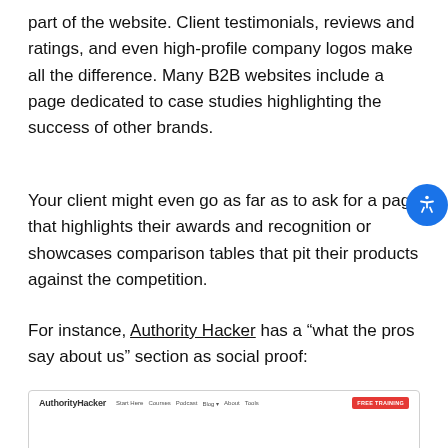part of the website. Client testimonials, reviews and ratings, and even high-profile company logos make all the difference. Many B2B websites include a page dedicated to case studies highlighting the success of other brands.
Your client might even go as far as to ask for a page that highlights their awards and recognition or showcases comparison tables that pit their products against the competition.
For instance, Authority Hacker has a “what the pros say about us” section as social proof:
[Figure (screenshot): Screenshot of Authority Hacker website header with logo, navigation links (Start Here, Courses, Podcast, Blog+, About, Tools), and a red FREE TRAINING button]